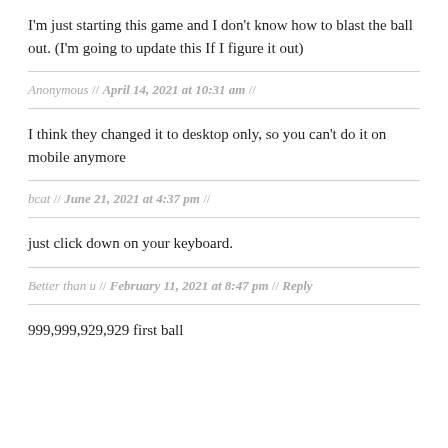I'm just starting this game and I don't know how to blast the ball out. (I'm going to update this If I figure it out)
Anonymous // April 14, 2021 at 10:31 am //
I think they changed it to desktop only, so you can't do it on mobile anymore
bcat // June 21, 2021 at 4:37 pm //
just click down on your keyboard.
Better than u // February 11, 2021 at 8:47 pm // Reply
999,999,929,929 first ball